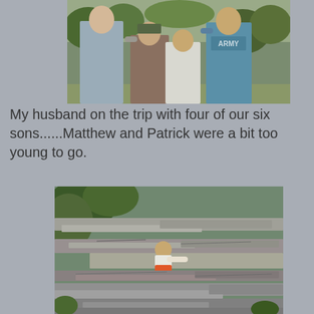[Figure (photo): A man and four boys posing together outdoors, one wearing an ARMY shirt, another wearing a cap, with trees in background.]
My husband on the trip with four of our six sons......Matthew and Patrick were a bit too young to go.
[Figure (photo): A child in orange shorts climbing or sitting on large flat layered rock formations outdoors, surrounded by green trees and vegetation.]